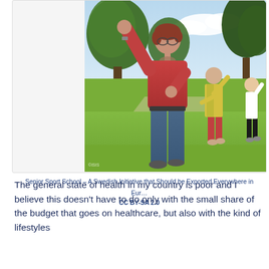[Figure (photo): Outdoor group exercise photo showing several women doing stretching/dance movements in a park setting with green trees and grass. The main figure in the foreground wears a red/pink sweater and blue jeans with one arm raised.]
Senior Sport School – A Swedish Initiative that Should be Exported Everywhere in Eur… CC BY-SA 2.0
The general state of health in my country is poor and I believe this doesn't have to do only with the small share of the budget that goes on healthcare, but also with the kind of lifestyles